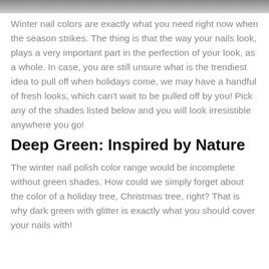[Figure (photo): Cropped top portion of a photo, appears to show dark fingernails or similar subject]
Winter nail colors are exactly what you need right now when the season strikes. The thing is that the way your nails look, plays a very important part in the perfection of your look, as a whole. In case, you are still unsure what is the trendiest idea to pull off when holidays come, we may have a handful of fresh looks, which can't wait to be pulled off by you! Pick any of the shades listed below and you will look irresistible anywhere you go!
Deep Green: Inspired by Nature
The winter nail polish color range would be incomplete without green shades. How could we simply forget about the color of a holiday tree, Christmas tree, right? That is why dark green with glitter is exactly what you should cover your nails with!